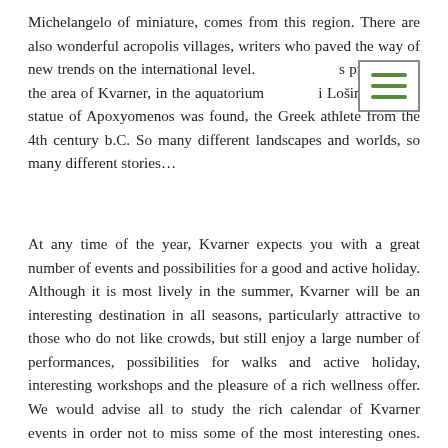Michelangelo of miniature, comes from this region. There are also wonderful acropolis villages, writers who paved the way of new trends on the international level. It is precisely in the area of Kvarner, in the aquatorium of Lošinj, that the statue of Apoxyomenos was found, the Greek athlete from the 4th century b.C. So many different landscapes and worlds, so many different stories…
At any time of the year, Kvarner expects you with a great number of events and possibilities for a good and active holiday. Although it is most lively in the summer, Kvarner will be an interesting destination in all seasons, particularly attractive to those who do not like crowds, but still enjoy a large number of performances, possibilities for walks and active holiday, interesting workshops and the pleasure of a rich wellness offer. We would advise all to study the rich calendar of Kvarner events in order not to miss some of the most interesting ones. The beginning of the year is marked by the carnival, and all customs related to it, as well as